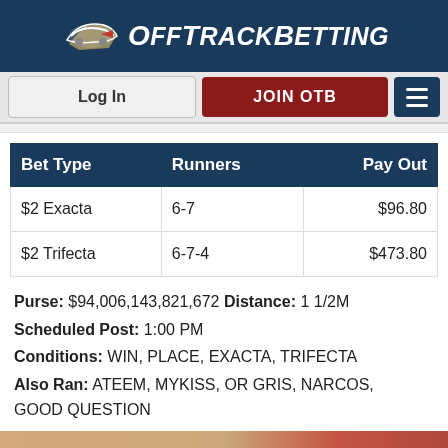[Figure (logo): OffTrackBetting logo with racing image and white text on dark blue background]
[Figure (screenshot): Navigation bar with Log In button, JOIN OTB button in dark red, and hamburger menu icon]
| Bet Type | Runners | Pay Out |
| --- | --- | --- |
| $2 Exacta | 6-7 | $96.80 |
| $2 Trifecta | 6-7-4 | $473.80 |
Purse: $94,006,143,821,672 Distance: 1 1/2M
Scheduled Post: 1:00 PM
Conditions: WIN, PLACE, EXACTA, TRIFECTA
Also Ran: ATEEM, MYKISS, OR GRIS, NARCOS, GOOD QUESTION
[Figure (photo): Blurred close-up photograph with tan and red colors, partial view of racing-related imagery]